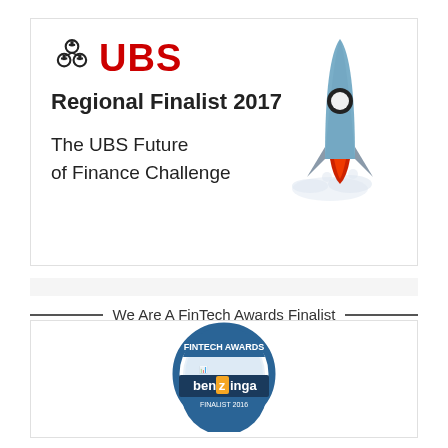[Figure (logo): UBS logo with crossed keys icon and red UBS text]
Regional Finalist 2017
The UBS Future of Finance Challenge
[Figure (illustration): Rocket ship illustration in blue and grey with red flame, launching through clouds]
We Are A FinTech Awards Finalist
[Figure (logo): Benzinga FinTech Awards badge - circular badge with fintech graphics and benzinga banner in centre]